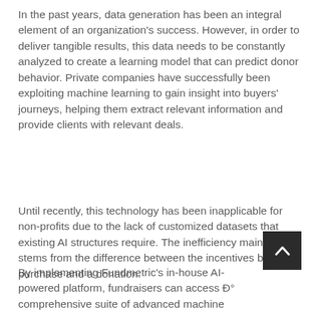In the past years, data generation has been an integral element of an organization's success. However, in order to deliver tangible results, this data needs to be constantly analyzed to create a learning model that can predict donor behavior. Private companies have successfully been exploiting machine learning to gain insight into buyers' journeys, helping them extract relevant information and provide clients with relevant deals.
Until recently, this technology has been inapplicable for non-profits due to the lack of customized datasets that existing AI structures require. The inefficiency mainly stems from the difference between the incentives behind a purchase and a donation.
[Figure (other): Dark square button with a white upward-pointing chevron arrow (back-to-top button)]
By implementing Fundmetric's in-house AI-powered platform, fundraisers can access Đ° comprehensive suite of advanced machine learning algorithms that empower them to capture more meaningful data and use it to their benefit.